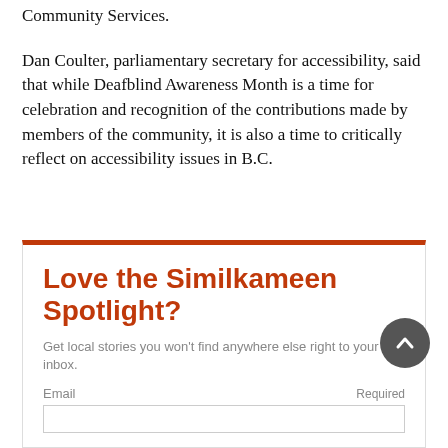said Sherry Grabowski, vice-president of CNIB Deafblind Community Services.
Dan Coulter, parliamentary secretary for accessibility, said that while Deafblind Awareness Month is a time for celebration and recognition of the contributions made by members of the community, it is also a time to critically reflect on accessibility issues in B.C.
Love the Similkameen Spotlight?
Get local stories you won't find anywhere else right to your inbox.
Email   Required